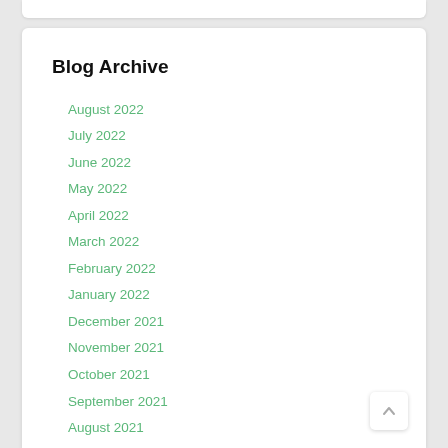Blog Archive
August 2022
July 2022
June 2022
May 2022
April 2022
March 2022
February 2022
January 2022
December 2021
November 2021
October 2021
September 2021
August 2021
July 2021
June 2021